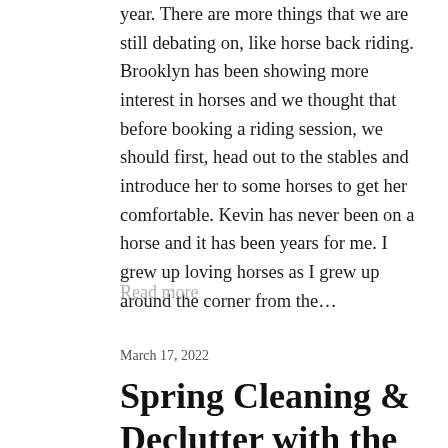year. There are more things that we are still debating on, like horse back riding. Brooklyn has been showing more interest in horses and we thought that before booking a riding session, we should first, head out to the stables and introduce her to some horses to get her comfortable. Kevin has never been on a horse and it has been years for me. I grew up loving horses as I grew up around the corner from the...
Read more
March 17, 2022
Spring Cleaning & Declutter with the Norman's